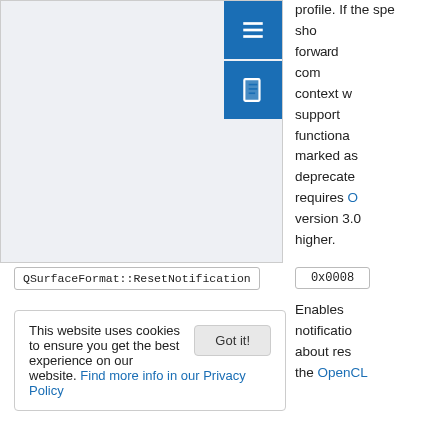[Figure (screenshot): Screenshot of a documentation page showing a light gray content area with a blue sidebar overlay containing menu and bookmark icons]
profile. If the specified context should go forward, the context with support functionality marked as deprecated requires OpenCL version 3.0 or higher.
This website uses cookies to ensure you get the best experience on our website. Find more info in our Privacy Policy
Got it!
QSurfaceFormat::ResetNotification
0x0008
Enables notification about reset the OpenCL